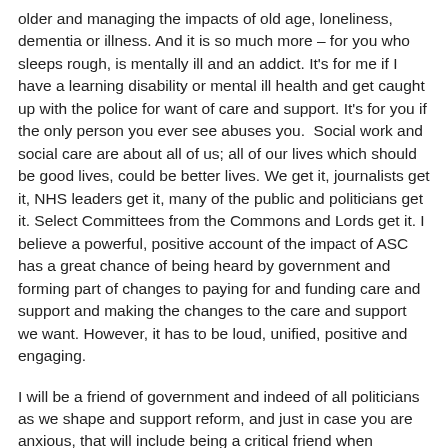older and managing the impacts of old age, loneliness, dementia or illness. And it is so much more – for you who sleeps rough, is mentally ill and an addict. It's for me if I have a learning disability or mental ill health and get caught up with the police for want of care and support. It's for you if the only person you ever see abuses you.  Social work and social care are about all of us; all of our lives which should be good lives, could be better lives. We get it, journalists get it, NHS leaders get it, many of the public and politicians get it. Select Committees from the Commons and Lords get it. I believe a powerful, positive account of the impact of ASC has a great chance of being heard by government and forming part of changes to paying for and funding care and support and making the changes to the care and support we want. However, it has to be loud, unified, positive and engaging.
I will be a friend of government and indeed of all politicians as we shape and support reform, and just in case you are anxious, that will include being a critical friend when necessary.   We won't do this in isolation. We will do it together building on the fantastic relationships my predecessors in this role have developed, as well as those that exist across the country.